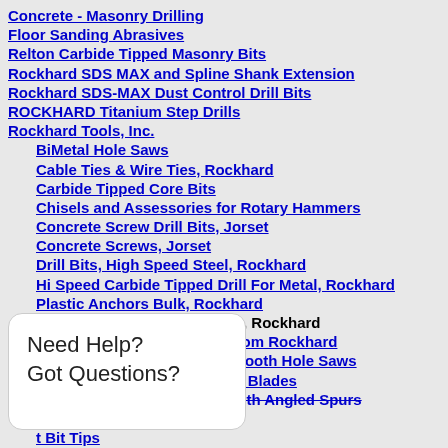Concrete - Masonry Drilling
Floor Sanding Abrasives
Relton Carbide Tipped Masonry Bits
Rockhard SDS MAX and Spline Shank Extension
Rockhard SDS-MAX Dust Control Drill Bits
ROCKHARD Titanium Step Drills
Rockhard Tools, Inc.
BiMetal Hole Saws
Cable Ties & Wire Ties, Rockhard
Carbide Tipped Core Bits
Chisels and Assessories for Rotary Hammers
Concrete Screw Drill Bits, Jorset
Concrete Screws, Jorset
Drill Bits, High Speed Steel, Rockhard
Hi Speed Carbide Tipped Drill For Metal, Rockhard
Plastic Anchors Bulk, Rockhard
Plastic Anchors Installer Kits, Rockhard
Power and Manual Bit Tips from Rockhard
Rockhard HSS BiMetal Fine Tooth Hole Saws
Rockhard Reciprocating Saw Blades
Rockhard Wood Spade Bit With Angled Spurs
, Rockhard
t Bit Tips
ust Control Drill Bits
ipped Saw Blades
s
Need Help?
Got Questions?